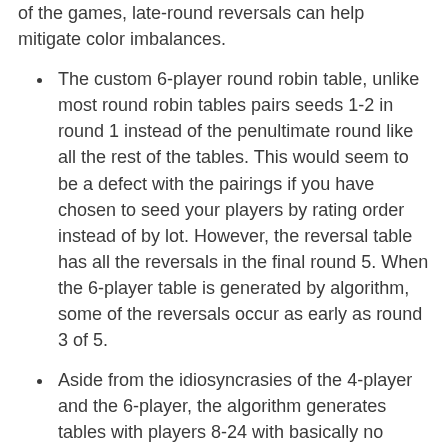of the games, late-round reversals can help mitigate color imbalances.
The custom 6-player round robin table, unlike most round robin tables pairs seeds 1-2 in round 1 instead of the penultimate round like all the rest of the tables. This would seem to be a defect with the pairings if you have chosen to seed your players by rating order instead of by lot. However, the reversal table has all the reversals in the final round 5. When the 6-player table is generated by algorithm, some of the reversals occur as early as round 3 of 5.
Aside from the idiosyncrasies of the 4-player and the 6-player, the algorithm generates tables with players 8-24 with basically no error.
The reversal tables of the 10-player and the 14-player are sorted in such a manner that my algorithm is at a loss for matching it.
In the Fifth Edition USCF rulebook, on page 296,